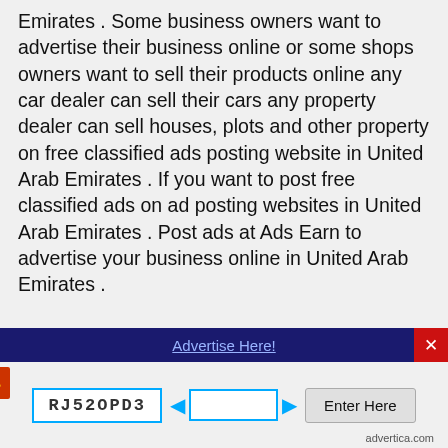Emirates . Some business owners want to advertise their business online or some shops owners want to sell their products online any car dealer can sell their cars any property dealer can sell houses, plots and other property on free classified ads posting website in United Arab Emirates . If you want to post free classified ads on ad posting websites in United Arab Emirates . Post ads at Ads Earn to advertise your business online in United Arab Emirates .
Tags: Post free classified ads in United Arab Emirates , United Arab Emirates and worldwide for Jobs, Business, Services or Buy-Sell Products, Real Estate, Electronics. Post ads without registration. Free Ads, Free classifieds ads, Bangalore classified ads, free online United Arab Emirates classifieds. Classified ads in flats, apartments,
Advertise Here!
[Figure (other): CAPTCHA widget with code RJ52OPD3, input box with arrows, Enter Here button, and advertica.com branding with a logo icon]